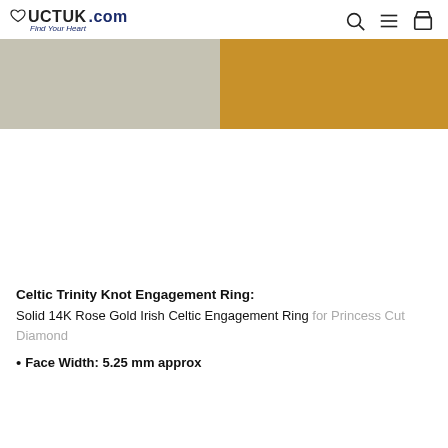UCTUK.com Find Your Heart
[Figure (photo): Product image showing two color swatches: left half is a light grey/beige tone, right half is a warm golden/tan tone, representing ring metal color options.]
Celtic Trinity Knot Engagement Ring:
Solid 14K Rose Gold Irish Celtic Engagement Ring for Princess Cut Diamond
Face Width: 5.25 mm approx